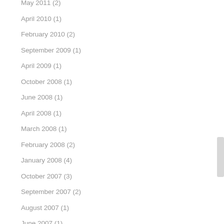May 2011 (2)
April 2010 (1)
February 2010 (2)
September 2009 (1)
April 2009 (1)
October 2008 (1)
June 2008 (1)
April 2008 (1)
March 2008 (1)
February 2008 (2)
January 2008 (4)
October 2007 (3)
September 2007 (2)
August 2007 (1)
June 2007 (1)